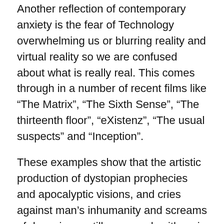Another reflection of contemporary anxiety is the fear of Technology overwhelming us or blurring reality and virtual reality so we are confused about what is really real. This comes through in a number of recent films like “The Matrix”, “The Sixth Sense”, “The thirteenth floor”, “eXistenz”, “The usual suspects” and “Inception”.
These examples show that the artistic production of dystopian prophecies and apocalyptic visions, and cries against man’s inhumanity and screams of despair are still very much with us in the 21st C., but they have a new edge, a new factor. We have moved from the loss of faith and angst of modernity to the confusion of post modernity. Not only does God not exist but there are no other foundations or objective truths and realities either.
My interpretation may be quite off the mark and it may be that the children of the 21st C are simply indifferent, that they may already have replaced “what is really real”. It is